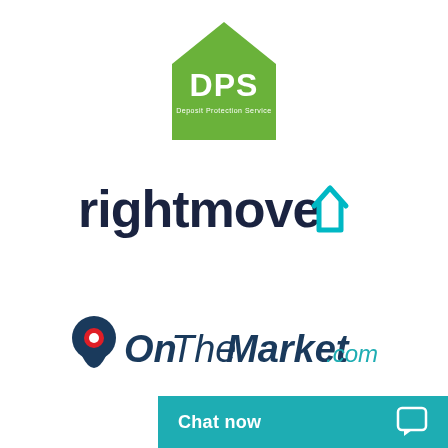[Figure (logo): DPS Deposit Protection Service logo - green house shape with white DPS text and small subtitle text]
[Figure (logo): Rightmove logo - dark navy bold lowercase text with teal house outline icon]
[Figure (logo): OnTheMarket.com logo - dark blue map pin with red dot, dark blue and teal text]
[Figure (other): Teal Chat now button bar at bottom right with chat bubble icon]